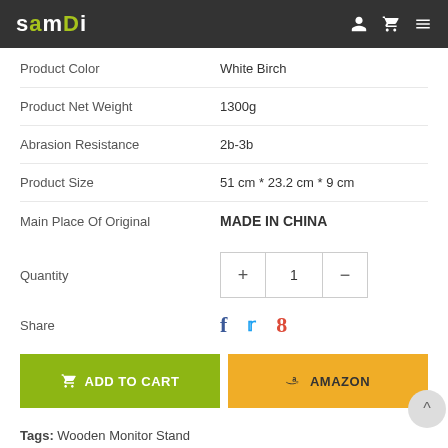samdi
| Product Color | White Birch |
| Product Net Weight | 1300g |
| Abrasion Resistance | 2b-3b |
| Product Size | 51 cm * 23.2 cm * 9 cm |
| Main Place Of Original | MADE IN CHINA |
Quantity: 1
Share
ADD TO CART | AMAZON
Tags: Wooden Monitor Stand